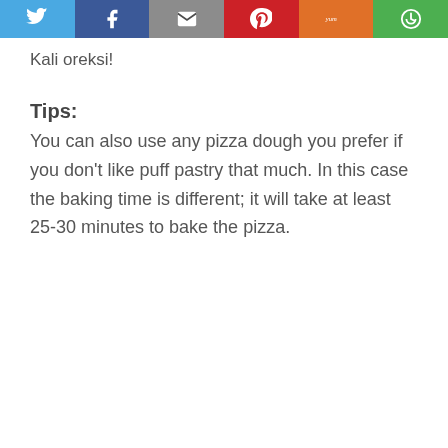[Figure (other): Social sharing bar with Twitter, Facebook, Email, Pinterest, Yum, and Print buttons]
Kali oreksi!
Tips:
You can also use any pizza dough you prefer if you don't like puff pastry that much. In this case the baking time is different; it will take at least 25-30 minutes to bake the pizza.